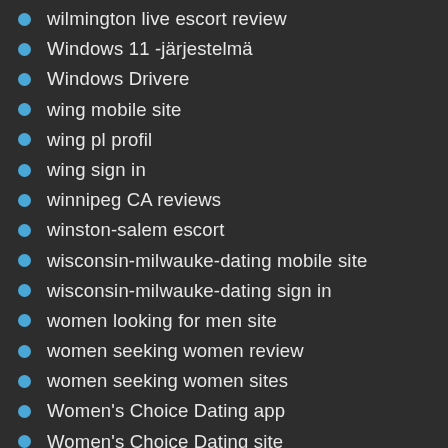wilmington live escort review
Windows 11 -järjestelmä
Windows Drivere
wing mobile site
wing pl profil
wing sign in
winnipeg CA reviews
winston-salem escort
wisconsin-milwauke-dating mobile site
wisconsin-milwauke-dating sign in
women looking for men site
women seeking women review
women seeking women sites
Women's Choice Dating app
Women's Choice Dating site